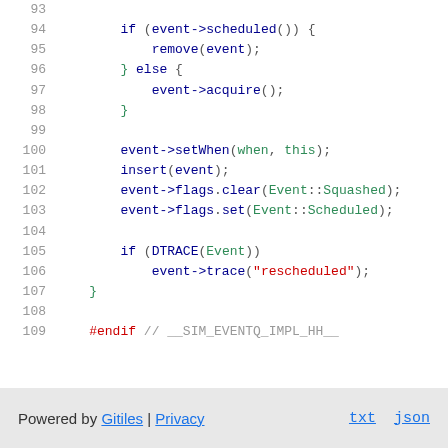93
94    if (event->scheduled()) {
95        remove(event);
96    } else {
97        event->acquire();
98    }
99
100    event->setWhen(when, this);
101    insert(event);
102    event->flags.clear(Event::Squashed);
103    event->flags.set(Event::Scheduled);
104
105    if (DTRACE(Event))
106        event->trace("rescheduled");
107 }
108
109 #endif // __SIM_EVENTQ_IMPL_HH__
Powered by Gitiles | Privacy    txt  json